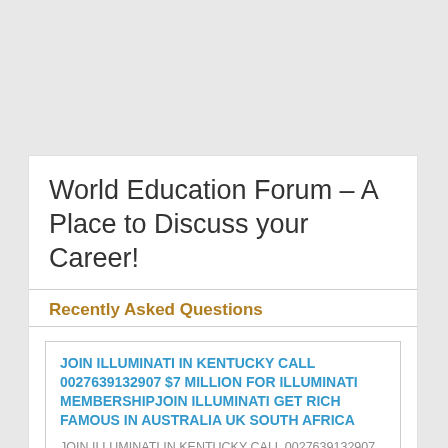World Education Forum – A Place to Discuss your Career!
Recently Asked Questions
JOIN ILLUMINATI IN KENTUCKY CALL 0027639132907 $7 MILLION FOR ILLUMINATI MEMBERSHIPJOIN ILLUMINATI GET RICH FAMOUS IN AUSTRALIA UK SOUTH AFRICA
JOIN ILLUMINATI IN KENTUCKY CALL 0027639132907 $7 MILLION FOR ILLUMINATI MEMBERSHIPJOIN ILLUMINATI GET RICH FAMOUS IN AUSTRALIA UK SOUTH AFRICA
View more